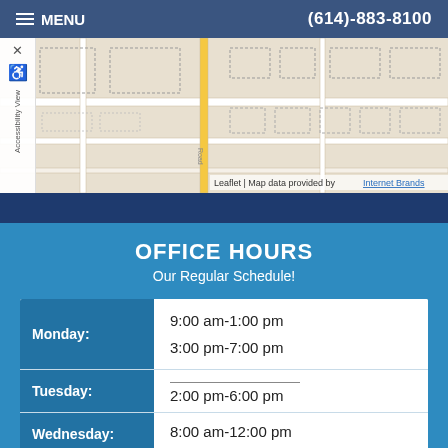MENU | (614)-883-8100
[Figure (map): Street map showing office location area with roads and building outlines. Attribution: Leaflet | Map data provided by Internet Brands]
OFFICE HOURS
Our Regular Schedule!
| Day | Hours |
| --- | --- |
| Monday: | 9:00 am-1:00 pm
3:00 pm-7:00 pm |
| Tuesday: | —
2:00 pm-6:00 pm |
| Wednesday: | 8:00 am-12:00 pm |